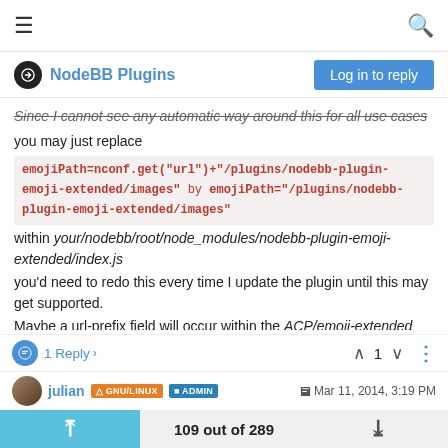NodeBB Plugins | Log in to reply
Since I cannot see any automatic way around this for all use cases you may just replace emojiPath=nconf.get("url")+"/plugins/nodebb-plugin-emoji-extended/images" by emojiPath="/plugins/nodebb-plugin-emoji-extended/images" within your/nodebb/root/node_modules/nodebb-plugin-emoji-extended/index.js you'd need to redo this every time I update the plugin until this may get supported. Maybe a url-prefix field will occur within the ACP/emoji-extended next update 😊
1 Reply > | ^ 1 v | ...
julian | GNU/LINUX | ADMIN | Mar 11, 2014, 3:19 PM
109 out of 289